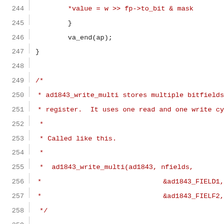[Figure (screenshot): Source code listing showing C code lines 244-265, with syntax highlighting. Line numbers in gray on left, dark red for comments and strings, green for keywords, black for identifiers. Code shows closing braces, va_end call, a multi-line comment block describing ad1843_write_multi function, and beginning of static void ad1843_write_multi function definition with local variable declarations.]